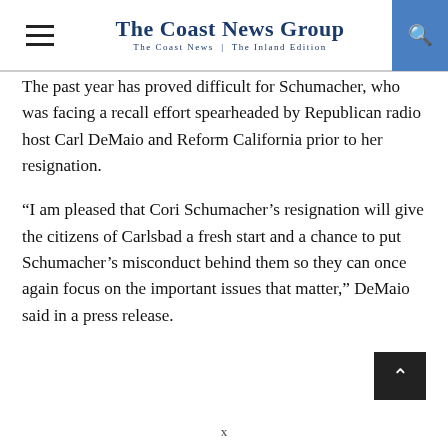The Coast News Group — The Coast News | The Inland Edition
The past year has proved difficult for Schumacher, who was facing a recall effort spearheaded by Republican radio host Carl DeMaio and Reform California prior to her resignation.
“I am pleased that Cori Schumacher’s resignation will give the citizens of Carlsbad a fresh start and a chance to put Schumacher’s misconduct behind them so they can once again focus on the important issues that matter,” DeMaio said in a press release.